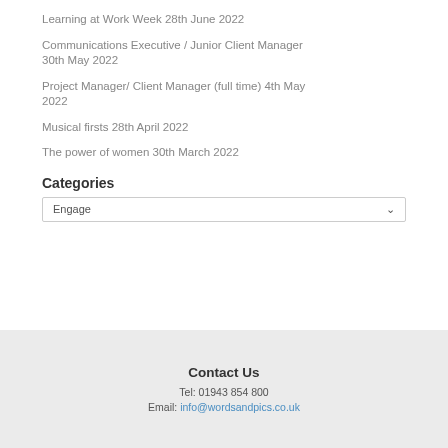Learning at Work Week 28th June 2022
Communications Executive / Junior Client Manager 30th May 2022
Project Manager/ Client Manager (full time) 4th May 2022
Musical firsts 28th April 2022
The power of women 30th March 2022
Categories
Engage
Contact Us
Tel: 01943 854 800
Email: info@wordsandpics.co.uk